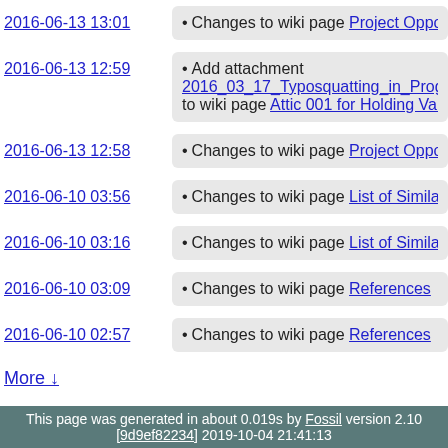2016-06-13 13:01 • Changes to wiki page Project Oppo...
2016-06-13 12:59 • Add attachment 2016_03_17_Typosquatting_in_Prog... to wiki page Attic 001 for Holding Var...
2016-06-13 12:58 • Changes to wiki page Project Oppo...
2016-06-10 03:56 • Changes to wiki page List of Simila...
2016-06-10 03:16 • Changes to wiki page List of Simila...
2016-06-10 03:09 • Changes to wiki page References
2016-06-10 02:57 • Changes to wiki page References
More ↓
This page was generated in about 0.019s by Fossil version 2.10 [9d9ef82234] 2019-10-04 21:41:13